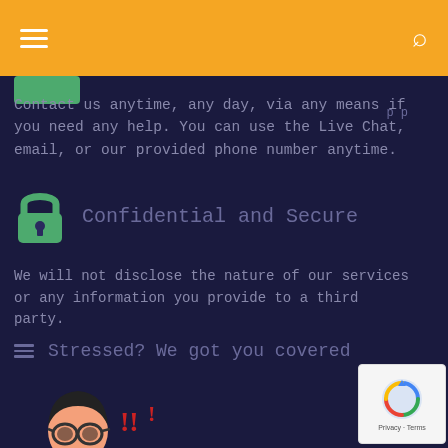Navigation bar with hamburger menu and search icon
Contact us anytime, any day, via any means if you need any help. You can use the Live Chat, email, or our provided phone number anytime.
Confidential and Secure
We will not disclose the nature of our services or any information you provide to a third party.
Stressed? We got you covered
[Figure (illustration): Cartoon illustration of a stressed businessman in glasses and suit, sitting at a computer with red exclamation marks above his head]
[Figure (other): reCAPTCHA badge with Privacy and Terms text]